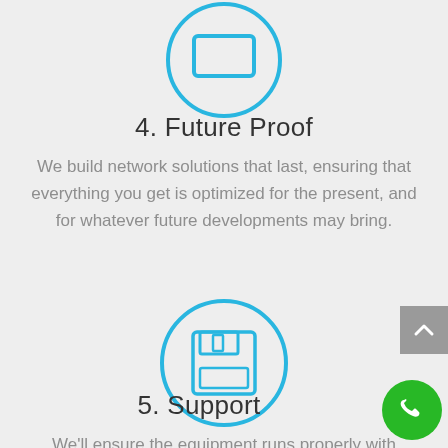[Figure (illustration): Blue circle icon with a monitor/screen outline symbol, partially cropped at the top of the page]
4. Future Proof
We build network solutions that last, ensuring that everything you get is optimized for the present, and for whatever future developments may bring.
[Figure (illustration): Blue circle icon with a floppy disk/save symbol inside]
5. Support
We'll ensure the equipment runs properly with